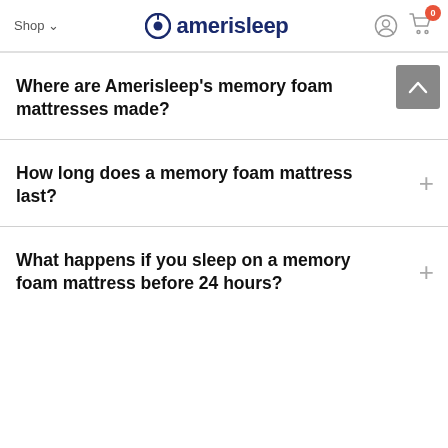Shop | amerisleep
Where are Amerisleep's memory foam mattresses made?
How long does a memory foam mattress last?
What happens if you sleep on a memory foam mattress before 24 hours?